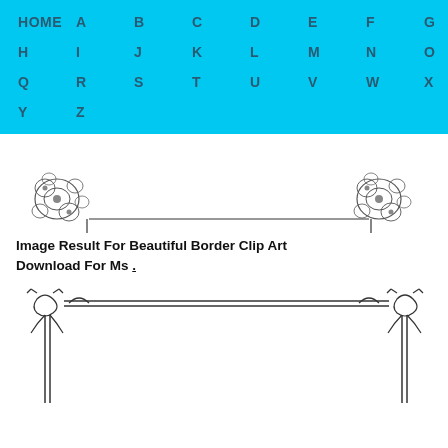HOME  A  B  C  D  E  F  G  H  I  J  K  L  M  N  O  P  Q  R  S  T  U  V  W  X  Y  Z
[Figure (illustration): Decorative border clip art with ornate floral/scroll corner pieces at top-left and top-right, connected by horizontal lines forming an open rectangular border frame]
Image Result For Beautiful Border Clip Art Download For Ms .
[Figure (illustration): Decorative rectangular border with ornate scroll/flourish corners and double horizontal lines at the top, with vertical double lines on left and right sides]